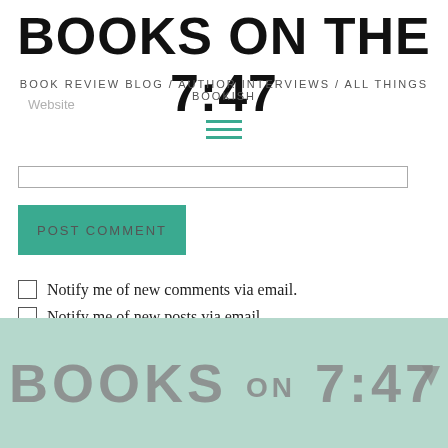BOOKS ON THE 7:47
BOOK REVIEW BLOG / AUTHOR INTERVIEWS / ALL THINGS BOOKISH
Website
[Figure (other): Hamburger menu icon with three horizontal teal lines]
[Figure (other): Input field (text entry bar)]
[Figure (other): POST COMMENT button (teal background)]
Notify me of new comments via email.
Notify me of new posts via email.
[Figure (illustration): Books on the 7:47 logo on mint/teal background with large gray decorative text reading BOOKS ON THE 7:47]